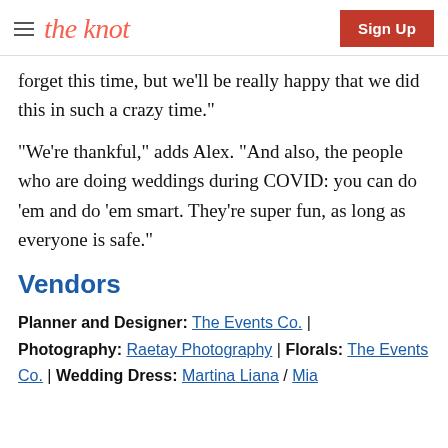the knot | Sign Up
forget this time, but we'll be really happy that we did this in such a crazy time."
"We're thankful," adds Alex. "And also, the people who are doing weddings during COVID: you can do 'em and do 'em smart. They're super fun, as long as everyone is safe."
Vendors
Planner and Designer: The Events Co. |
Photography: Raetay Photography | Florals: The Events Co. | Wedding Dress: Martina Liana / Mia